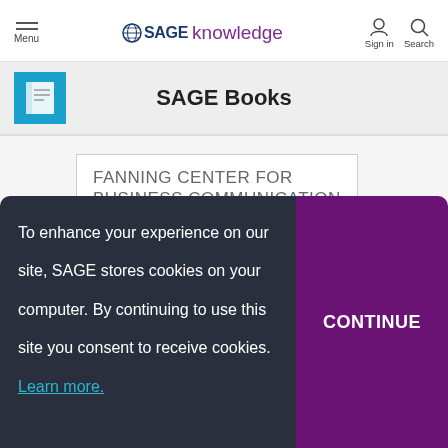Menu | SAGE knowledge | Sign in | Search
SAGE Books
FANNING CENTER FOR BUSINESS COMMUNICATION
To enhance your experience on our site, SAGE stores cookies on your computer. By continuing to use this site you consent to receive cookies. Learn more.
CONTINUE